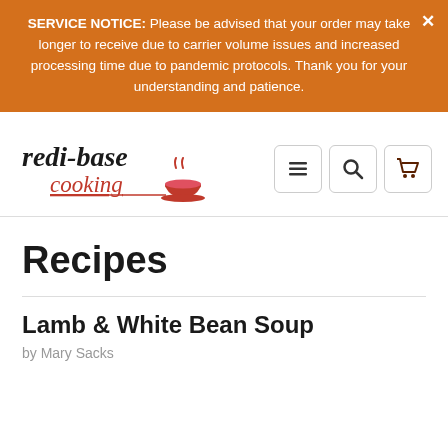SERVICE NOTICE: Please be advised that your order may take longer to receive due to carrier volume issues and increased processing time due to pandemic protocols. Thank you for your understanding and patience.
[Figure (logo): redi-base cooking logo with a pink bowl and steam]
[Figure (other): Navigation icons: hamburger menu, search, and shopping cart]
Recipes
Lamb & White Bean Soup
by Mary Sacks